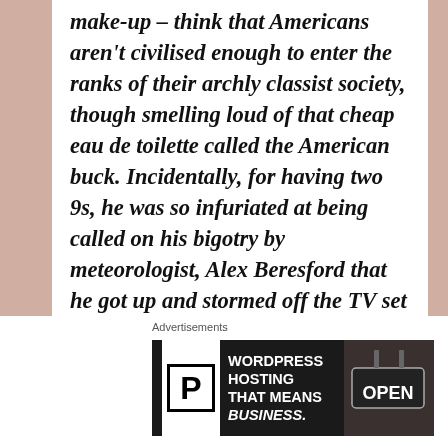make-up – think that Americans aren't civilised enough to enter the ranks of their archly classist society, though smelling loud of that cheap eau de toilette called the American buck. Incidentally, for having two 9s, he was so infuriated at being called on his bigotry by meteorologist, Alex Beresford that he got up and stormed off the TV set and lost his job. This was his meltdown response to Meghan & Harry's
[Figure (other): WordPress Hosting advertisement banner: logo P in box, text 'WORDPRESS HOSTING THAT MEANS BUSINESS.' and photo of OPEN sign]